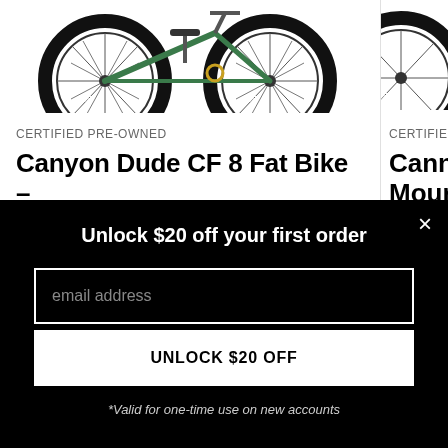[Figure (photo): Top portion of a mountain fat bike (Canyon Dude CF 8), showing the front wheel with Maxxis tire and rear wheel, on a white background. Partially cropped.]
CERTIFIED PRE-OWNED
Canyon Dude CF 8 Fat Bike - 2022, Small
$2,599.99
[Figure (photo): Partially visible second bike product card, showing a wheel with Maxxis tire, cropped at right edge.]
CERTIFIE
Cann Mour
$3,495
Unlock $20 off your first order
email address
UNLOCK $20 OFF
*Valid for one-time use on new accounts